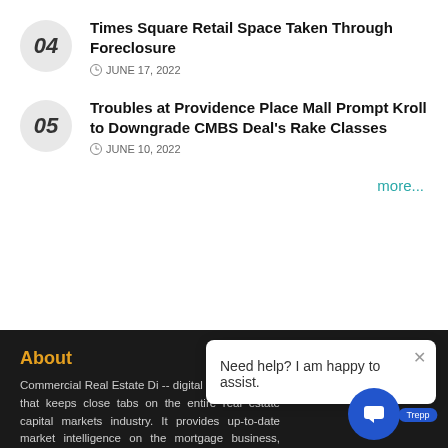04 — Times Square Retail Space Taken Through Foreclosure — JUNE 17, 2022
05 — Troubles at Providence Place Mall Prompt Kroll to Downgrade CMBS Deal's Rake Classes — JUNE 10, 2022
more...
About
Commercial Real Estate Direct -- digital or otherwise -- that keeps close tabs on the entire real estate capital markets industry. It provides up-to-date market intelligence on the mortgage business, equity raising, investment sales and CMBS.
Follow Us